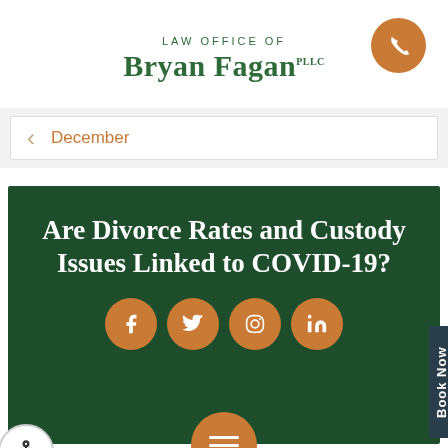LAW OFFICE OF Bryan Fagan PLLC
December
Are Divorce Rates and Custody Issues Linked to COVID-19?